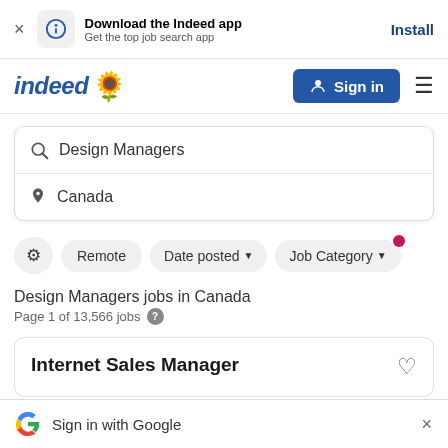Download the Indeed app — Get the top job search app — Install
[Figure (logo): Indeed logo with sunflower emoji and Sign in button]
Design Managers
Canada
Remote  Date posted  Job Category
Design Managers jobs in Canada
Page 1 of 13,566 jobs
Internet Sales Manager
Sign in with Google